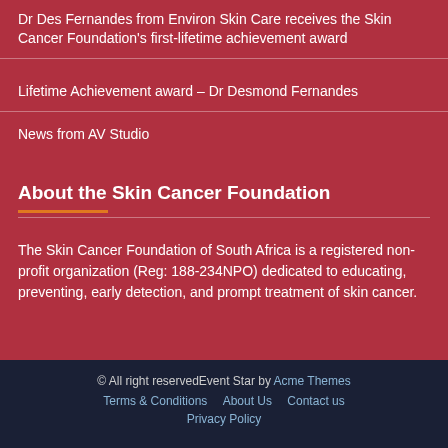Dr Des Fernandes from Environ Skin Care receives the Skin Cancer Foundation's first-lifetime achievement award
Lifetime Achievement award – Dr Desmond Fernandes
News from AV Studio
About the Skin Cancer Foundation
The Skin Cancer Foundation of South Africa is a registered non-profit organization (Reg: 188-234NPO) dedicated to educating, preventing, early detection, and prompt treatment of skin cancer.
© All right reservedEvent Star by Acme Themes
Terms & Conditions   About Us   Contact us
Privacy Policy